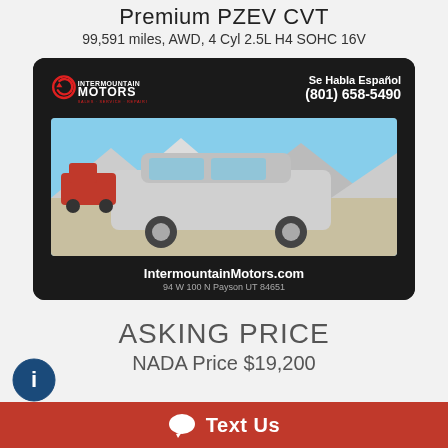Premium PZEV CVT
99,591 miles, AWD, 4 Cyl 2.5L H4 SOHC 16V
[Figure (photo): Intermountain Motors dealership advertisement card with dark background, logo top-left, contact info top-right ('Se Habla Español, (801) 658-5490'), a photo of a silver Subaru Forester SUV in a parking lot with mountains in background, website URL 'IntermountainMotors.com' and address '94 W 100 N Payson UT 84651' at bottom.]
ASKING PRICE
NADA Price $19,200
Text Us